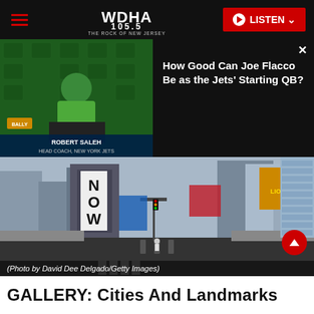WDHA 105.5 — THE ROCK OF NEW JERSEY navigation bar with hamburger menu and LISTEN button
[Figure (screenshot): Robert Saleh press conference video thumbnail — Jets head coach at podium with Jets branded backdrop, chyron reads ROBERT SALEH, HEAD COACH, NEW YORK JETS]
How Good Can Joe Flacco Be as the Jets' Starting QB?
[Figure (photo): Times Square, New York City — near-empty street view looking down a wide avenue flanked by skyscrapers and billboards including Lion King advertisement and NOW signage]
(Photo by David Dee Delgado/Getty Images)
GALLERY: Cities And Landmarks